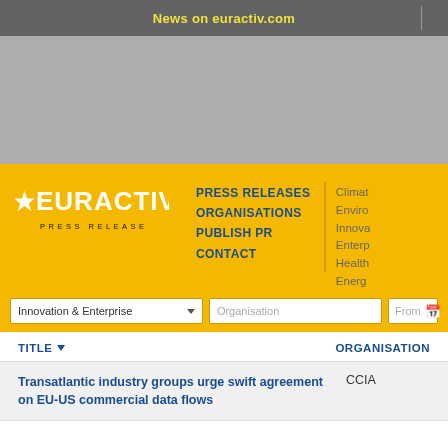News on euractiv.com
[Figure (logo): EURACTIV PRESS RELEASE logo on yellow banner with navigation links: PRESS RELEASES, ORGANISATIONS, PUBLISH PR, CONTACT, and side topics: Climat, Enviro, Innova, Enterp, Health, Energ]
Innovation & Enterprise | Organisation | From
| TITLE | ORGANISATION |
| --- | --- |
| Transatlantic industry groups urge swift agreement on EU-US commercial data flows | CCIA |